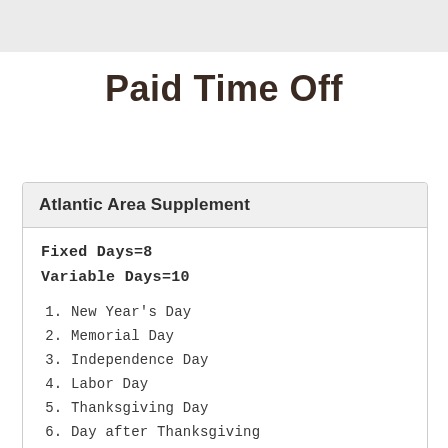Paid Time Off
Atlantic Area Supplement
Fixed Days=8
Variable Days=10
1. New Year's Day
2. Memorial Day
3. Independence Day
4. Labor Day
5. Thanksgiving Day
6. Day after Thanksgiving